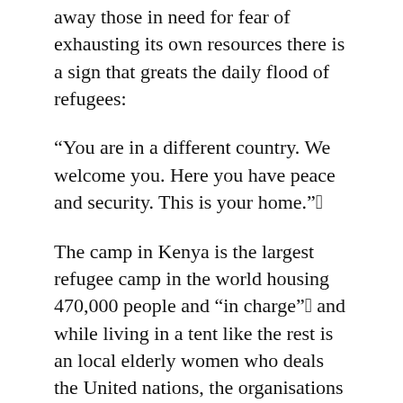away those in need for fear of exhausting its own resources there is a sign that greats the daily flood of refugees:
“You are in a different country. We welcome you. Here you have peace and security. This is your home.”
The camp in Kenya is the largest refugee camp in the world housing 470,000 people and “in charge” and while living in a tent like the rest is an local elderly women who deals the United nations, the organisations like Lutheran World Service and the government in managing the resources to try and meet the needs of those before her. The displaced, those